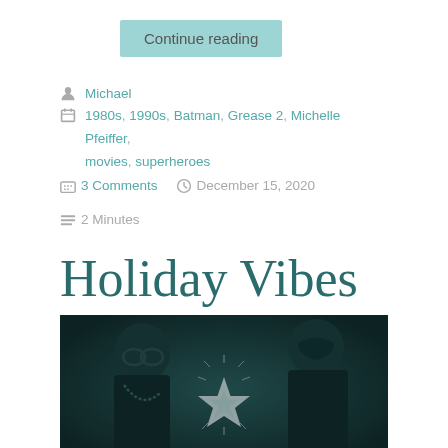Continue reading
Michael
1980s, 1990s, Batman, Grease 2, Michelle Pfeiffer, movies, superheroes
3 Comments   December 15, 2020   2 Minutes
Holiday Vibes
[Figure (photo): Dark teal-toned photograph of two people wearing masquerade-style masks, with a sparkly star decoration in the foreground center.]